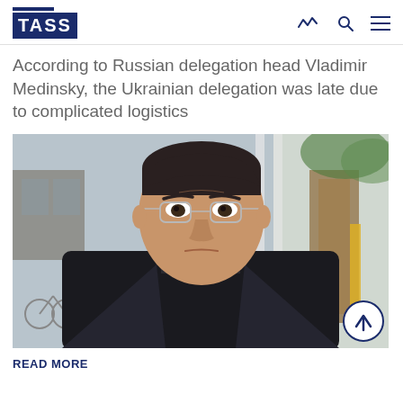TASS
According to Russian delegation head Vladimir Medinsky, the Ukrainian delegation was late due to complicated logistics
[Figure (photo): Portrait photo of Vladimir Medinsky, a middle-aged man with dark hair and wire-rimmed glasses, wearing a dark jacket, with a blurred outdoor background showing white columns and green foliage]
READ MORE